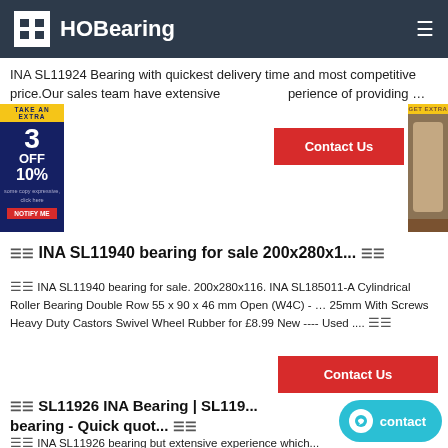HOBearing
INA SL11924 Bearing with quickest delivery time and most competitive price.Our sales team have extensive experience of providing … ☰☰
☰☰ INA SL11940 bearing for sale 200x280x1... ☰☰
☰☰ INA SL11940 bearing for sale. 200x280x116. INA SL185011-A Cylindrical Roller Bearing Double Row 55 x 90 x 46 mm Open (W4C) - … 25mm With Screws Heavy Duty Castors Swivel Wheel Rubber for £8.99 New ---- Used .... ☰☰
☰☰ SL11926 INA Bearing | SL119... bearing - Quick quot... ☰☰
☰☰ INA SL11926 bearing but extensive experience which...